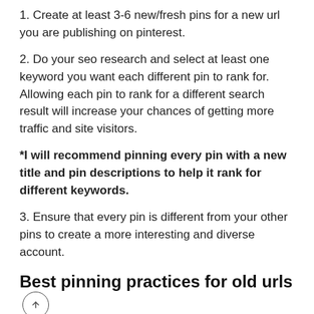1. Create at least 3-6 new/fresh pins for a new url you are publishing on pinterest.
2. Do your seo research and select at least one keyword you want each different pin to rank for. Allowing each pin to rank for a different search result will increase your chances of getting more traffic and site visitors.
*I will recommend pinning every pin with a new title and pin descriptions to help it rank for different keywords.
3. Ensure that every pin is different from your other pins to create a more interesting and diverse account.
Best pinning practices for old urls
1. Do not pin old images with a different title or pin